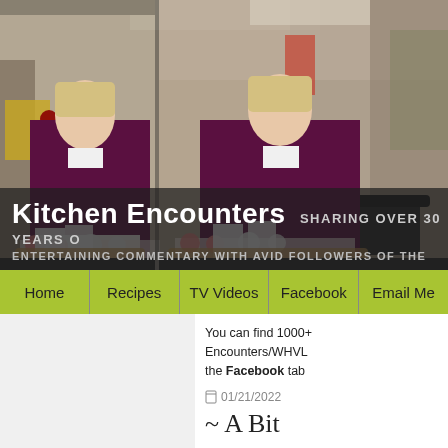[Figure (photo): Website header banner showing a woman in a dark maroon/purple blazer standing in a kitchen setting, repeated twice side by side]
Kitchen Encounters  SHARING OVER 30 YEARS O
ENTERTAINING COMMENTARY WITH AVID FOLLOWERS OF THE
Home
Recipes
TV Videos
Facebook
Email Me
You can find 1000+ Encounters/WHVL the Facebook tab
01/21/2022
~ A Bit